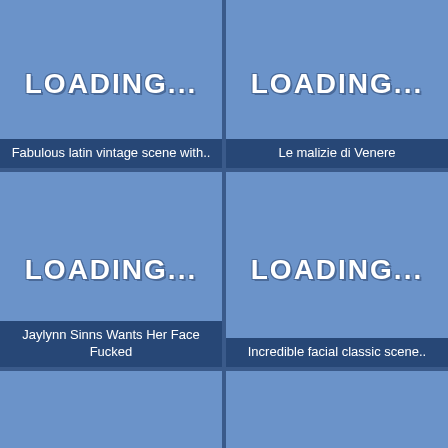[Figure (screenshot): Video thumbnail loading placeholder for 'Fabulous latin vintage scene with..']
[Figure (screenshot): Video thumbnail loading placeholder for 'Le malizie di Venere']
[Figure (screenshot): Video thumbnail loading placeholder, duration 26:04, for 'Jaylynn Sinns Wants Her Face Fucked']
[Figure (screenshot): Video thumbnail loading placeholder, duration 1:38:06, for 'Incredible facial classic scene..']
[Figure (screenshot): Video thumbnail loading placeholder, duration 12:37, for 'Tattooed Emo Nico Elise rough Anal']
[Figure (screenshot): Video thumbnail loading placeholder, duration 28:11, for 'Amazing pornstar Sincerre Lemore..']
[Figure (screenshot): Video thumbnail loading placeholder, duration 12:04]
[Figure (screenshot): Video thumbnail loading placeholder, duration 3:02]